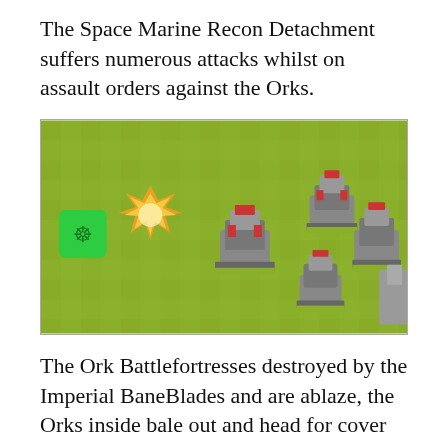The Space Marine Recon Detachment suffers numerous attacks whilst on assault orders against the Orks.
[Figure (photo): Tabletop wargaming miniatures on a green felt surface. A green die is visible on the left alongside an explosion/flame marker. Several Ork miniatures on bases are arrayed across the scene.]
The Ork Battlefortresses destroyed by the Imperial BaneBlades and are ablaze, the Orks inside bale out and head for cover just in case they explode... however under attack from BaneBlades and Leman Russ tanks which